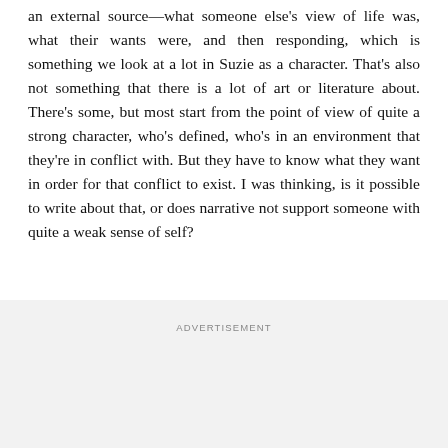an external source—what someone else's view of life was, what their wants were, and then responding, which is something we look at a lot in Suzie as a character. That's also not something that there is a lot of art or literature about. There's some, but most start from the point of view of quite a strong character, who's defined, who's in an environment that they're in conflict with. But they have to know what they want in order for that conflict to exist. I was thinking, is it possible to write about that, or does narrative not support someone with quite a weak sense of self?
ADVERTISEMENT